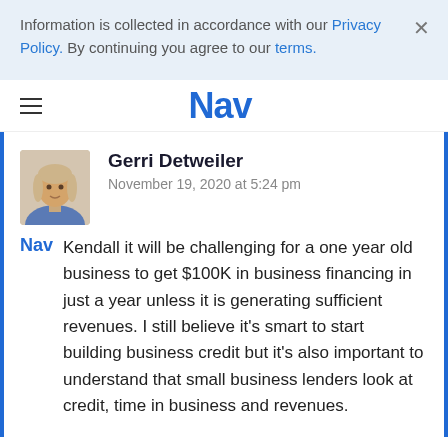Information is collected in accordance with our Privacy Policy. By continuing you agree to our terms.
[Figure (logo): Nav website logo and hamburger menu navigation bar]
[Figure (photo): Profile photo of Gerri Detweiler, a woman with blonde hair wearing a blue top]
Gerri Detweiler
November 19, 2020 at 5:24 pm
Nav   Kendall it will be challenging for a one year old business to get $100K in business financing in just a year unless it is generating sufficient revenues. I still believe it's smart to start building business credit but it's also important to understand that small business lenders look at credit, time in business and revenues.